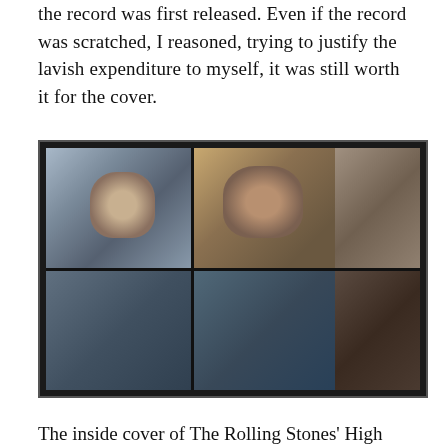the record was first released. Even if the record was scratched, I reasoned, trying to justify the lavish expenditure to myself, it was still worth it for the cover.
[Figure (photo): The inside cover of The Rolling Stones' High album, showing a collage of band member portrait photographs arranged in a grid. Multiple close-up photos of band members, some playing guitars, set against dark borders.]
The inside cover of The Rolling Stones' High